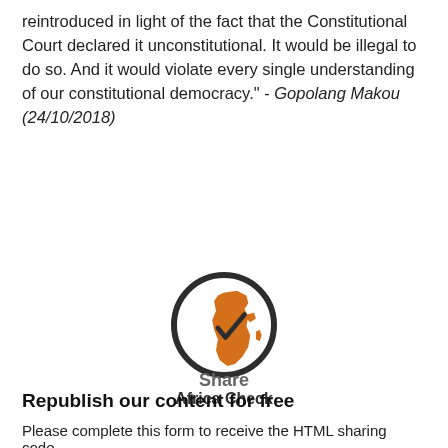reintroduced in light of the fact that the Constitutional Court declared it unconstitutional. It would be illegal to do so. And it would violate every single understanding of our constitutional democracy." - Gopolang Makou (24/10/2018)
[Figure (logo): Africa Check logo: a circular badge with a dark border containing an orange silhouette of the African continent with a checkmark overlaid]
Africa Check
Share
Republish our content for free
Please complete this form to receive the HTML sharing code.